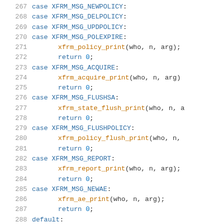267  case XFRM_MSG_NEWPOLICY:
268  case XFRM_MSG_DELPOLICY:
269  case XFRM_MSG_UPDPOLICY:
270  case XFRM_MSG_POLEXPIRE:
271       xfrm_policy_print(who, n, arg);
272       return 0;
273  case XFRM_MSG_ACQUIRE:
274       xfrm_acquire_print(who, n, arg)
275       return 0;
276  case XFRM_MSG_FLUSHSA:
277       xfrm_state_flush_print(who, n, a
278       return 0;
279  case XFRM_MSG_FLUSHPOLICY:
280       xfrm_policy_flush_print(who, n,
281       return 0;
282  case XFRM_MSG_REPORT:
283       xfrm_report_print(who, n, arg);
284       return 0;
285  case XFRM_MSG_NEWAE:
286       xfrm_ae_print(who, n, arg);
287       return 0;
288  default: